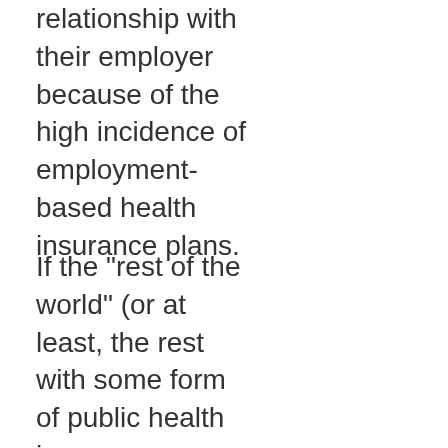relationship with their employer because of the high incidence of employment-based health insurance plans.
If the "rest of the world" (or at least, the rest with some form of public health insurance or public health care) has a more pure labour market, then when declines in employment ought to happen, they do. But for the U.S., I would theorize that there was an overhang of excess employment because of the health care situation. This recession finally forced the separation of those employees, correcting the overhang. The result in recent